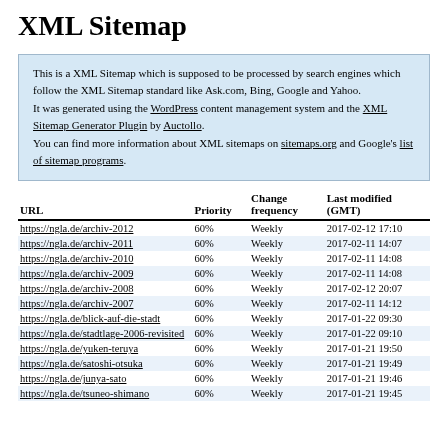XML Sitemap
This is a XML Sitemap which is supposed to be processed by search engines which follow the XML Sitemap standard like Ask.com, Bing, Google and Yahoo.
It was generated using the WordPress content management system and the XML Sitemap Generator Plugin by Auctollo.
You can find more information about XML sitemaps on sitemaps.org and Google's list of sitemap programs.
| URL | Priority | Change frequency | Last modified (GMT) |
| --- | --- | --- | --- |
| https://ngla.de/archiv-2012 | 60% | Weekly | 2017-02-12 17:10 |
| https://ngla.de/archiv-2011 | 60% | Weekly | 2017-02-11 14:07 |
| https://ngla.de/archiv-2010 | 60% | Weekly | 2017-02-11 14:08 |
| https://ngla.de/archiv-2009 | 60% | Weekly | 2017-02-11 14:08 |
| https://ngla.de/archiv-2008 | 60% | Weekly | 2017-02-12 20:07 |
| https://ngla.de/archiv-2007 | 60% | Weekly | 2017-02-11 14:12 |
| https://ngla.de/blick-auf-die-stadt | 60% | Weekly | 2017-01-22 09:30 |
| https://ngla.de/stadtlage-2006-revisited | 60% | Weekly | 2017-01-22 09:10 |
| https://ngla.de/yuken-teruya | 60% | Weekly | 2017-01-21 19:50 |
| https://ngla.de/satoshi-otsuka | 60% | Weekly | 2017-01-21 19:49 |
| https://ngla.de/junya-sato | 60% | Weekly | 2017-01-21 19:46 |
| https://ngla.de/tsuneo-shimano | 60% | Weekly | 2017-01-21 19:45 |